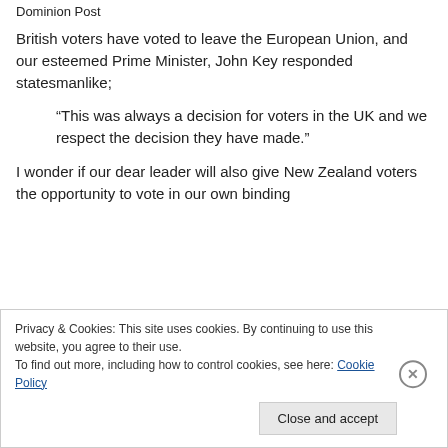Dominion Post
British voters have voted to leave the European Union, and our esteemed Prime Minister, John Key responded statesmanlike;
“This was always a decision for voters in the UK and we respect the decision they have made.”
I wonder if our dear leader will also give New Zealand voters the opportunity to vote in our own binding
Privacy & Cookies: This site uses cookies. By continuing to use this website, you agree to their use.
To find out more, including how to control cookies, see here: Cookie Policy